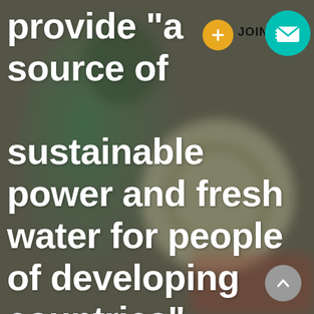[Figure (photo): Blurred background photo showing a person in a green jacket holding or near a painted globe/ball with symbols on it, muted earthy tones]
provide "a source of sustainable power and fresh water for people of developing countries"